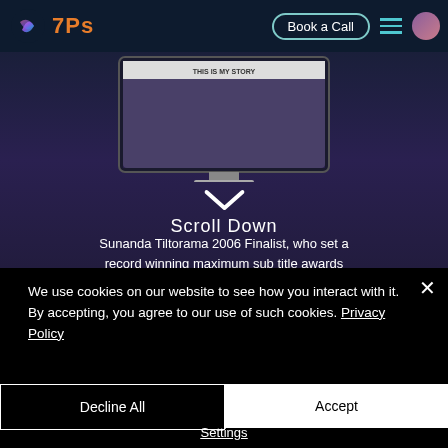[Figure (screenshot): 7Ps website navigation bar with logo, Book a Call button, hamburger menu, and profile avatar]
[Figure (screenshot): Dark purple/navy hero section of website showing a monitor with 'THIS IS MY STORY' text, a downward chevron arrow, 'Scroll Down' label, and partial text about Sunanda Tiltorama 2006 Finalist who set a record winning maximum sub title awards, Next Big Leap 2009 Femina Miss India...]
We use cookies on our website to see how you interact with it. By accepting, you agree to our use of such cookies. Privacy Policy
Decline All
Accept
Settings